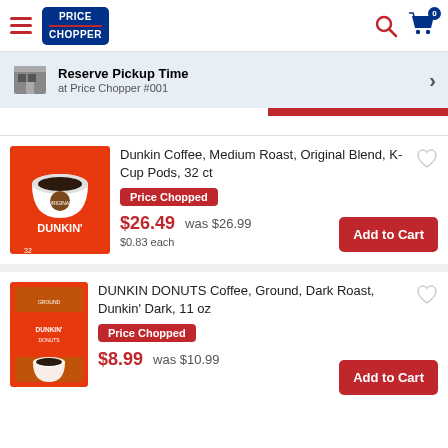Price Chopper header with hamburger menu, search, and cart icons
Reserve Pickup Time at Price Chopper #001
Dunkin Coffee, Medium Roast, Original Blend, K-Cup Pods, 32 ct
Price Chopped
$26.49  was $26.99
$0.83 each
Add to Cart
DUNKIN DONUTS Coffee, Ground, Dark Roast, Dunkin' Dark, 11 oz
Price Chopped
$8.99  was $10.99